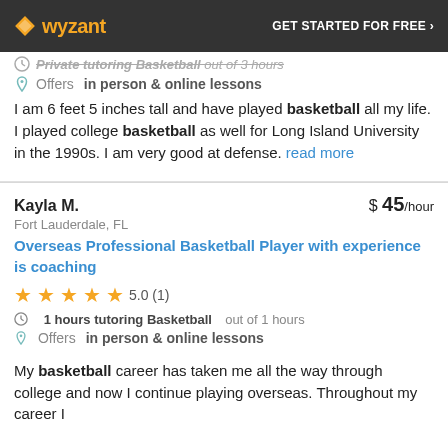wyzant  GET STARTED FOR FREE ›
1 hours tutoring Basketball out of 3 hours
Offers in person & online lessons
I am 6 feet 5 inches tall and have played basketball all my life. I played college basketball as well for Long Island University in the 1990s. I am very good at defense. read more
Kayla M.  $ 45/hour  Fort Lauderdale, FL
Overseas Professional Basketball Player with experience is coaching
5.0 (1)
1 hours tutoring Basketball out of 1 hours
Offers in person & online lessons
My basketball career has taken me all the way through college and now I continue playing overseas. Throughout my career I